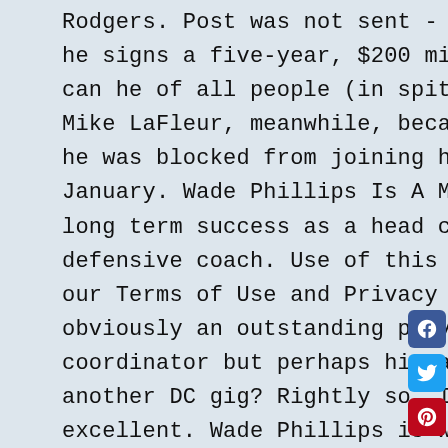Rodgers. Post was not sent - check your email addresses! Say he signs a five-year, $200 million extension. How on Earth can he of all people (in spite of his age) be out of work? Mike LaFleur, meanwhile, became pass-game coordinator after he was blocked from joining his brother in Green Bay last January. Wade Phillips Is A Member Of . Just never had much long term success as a head coach. He always a decent defensive coach. Use of this site constitutes acceptance of our Terms of Use and Privacy Policy. The quarterback's obviously an outstanding player. A very solid defensive coordinator but perhaps his age is a factor in getting another DC gig? Rightly so, I must add. Their defense was excellent. Wade Phillips is widely considered to be one of the best defensive minds in football, but he's hoping to see points scored in bunches when the NFL season kicks off this week. THOUSAND OAKS, Calif. -- Wade Phillips will not return next season as defensive coordinator of the Los Angeles Rams. Whether or not he gets that